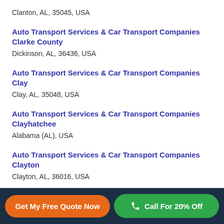Clanton, AL, 35045, USA
Auto Transport Services & Car Transport Companies Clarke County
Dickinson, AL, 36436, USA
Auto Transport Services & Car Transport Companies Clay
Clay, AL, 35048, USA
Auto Transport Services & Car Transport Companies Clayhatchee
Alabama (AL), USA
Auto Transport Services & Car Transport Companies Clayton
Clayton, AL, 36016, USA
Auto Transport Services & Car Transport Companies Cleburne County
Get My Free Quote Now | Call For 20% Off